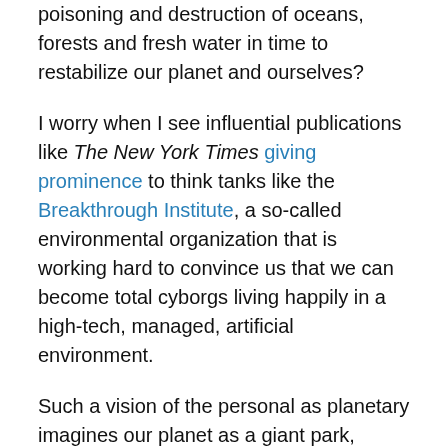poisoning and destruction of oceans, forests and fresh water in time to restabilize our planet and ourselves?
I worry when I see influential publications like The New York Times giving prominence to think tanks like the Breakthrough Institute, a so-called environmental organization that is working hard to convince us that we can become total cyborgs living happily in a high-tech, managed, artificial environment.
Such a vision of the personal as planetary imagines our planet as a giant park, complete with zoos and aquariums, manicured gardens and “rambles” left artificially “wild.”
What it fails to give any credence to is the possibility that we, and our planet, might have—dare I say it?—a soul.
Machines do not have souls. But our beautiful planet, with